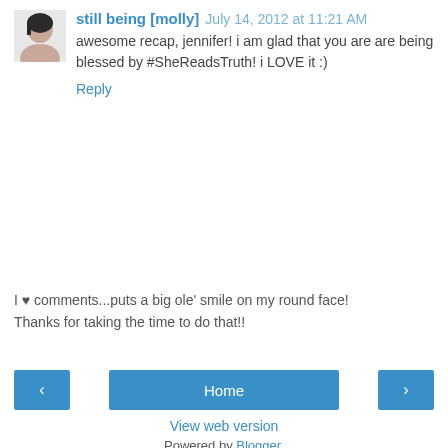[Figure (photo): Small avatar photo of a woman with dark hair]
still being [molly] July 14, 2012 at 11:21 AM
awesome recap, jennifer! i am glad that you are are being blessed by #SheReadsTruth! i LOVE it :)
Reply
I ♥ comments...puts a big ole' smile on my round face!
Thanks for taking the time to do that!!
< Home > View web version Powered by Blogger.